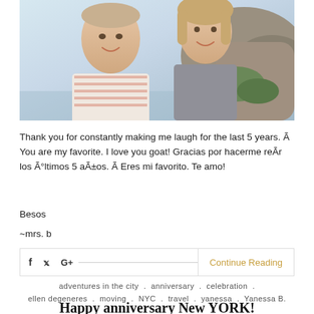[Figure (photo): Photo of a couple smiling at a beach/rocky outdoor setting. Man in striped polo shirt on left, woman in grey top on right.]
Thank you for constantly making me laugh for the last 5 years. Ã You are my favorite. I love you goat! Gracias por hacerme reÃr los Ã°ltimos 5 aÃ±os. Ã Eres mi favorito. Te amo!
Besos
~mrs. b
Continue Reading
adventures in the city  .  anniversary  .  celebration  .  ellen degeneres  .  moving  .  NYC  .  travel  .  yanessa  .  Yanessa B.
Happy anniversary New YORK!